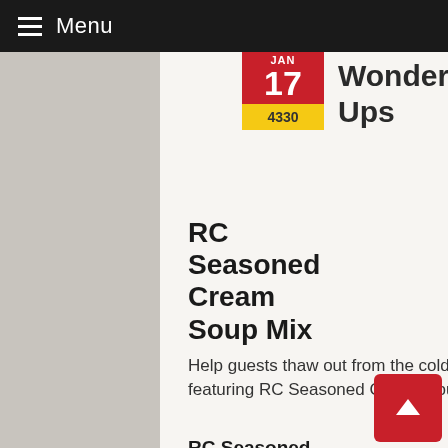Menu
Wonderful Winter Warm Ups
JAN 17 4330
RC Seasoned Cream Soup Mix
Help guests thaw out from the cold with these winter menu ideas featuring RC Seasoned Cream Soup Mix.
Product Information
Recipes (PDF)
Order a Sample
Visit the Website
RC Seasoned